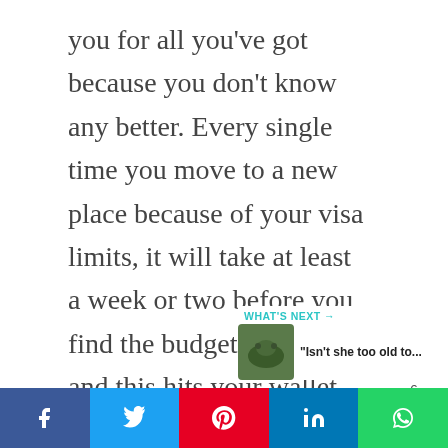you for all you've got because you don't know any better. Every single time you move to a new place because of your visa limits, it will take at least a week or two before you find the budget places, and this hits your wallet hard.
[Figure (infographic): Circular teal heart/like button with count of 6, and a circular share button with share icon]
[Figure (infographic): What's Next widget with teal header text 'WHAT'S NEXT →', animal thumbnail image, and text 'Isn't she too old to...']
[Figure (infographic): Social share bar at the bottom with Facebook (blue), Twitter (light blue), Pinterest (red), LinkedIn (blue), WhatsApp (green) buttons with their respective icons]